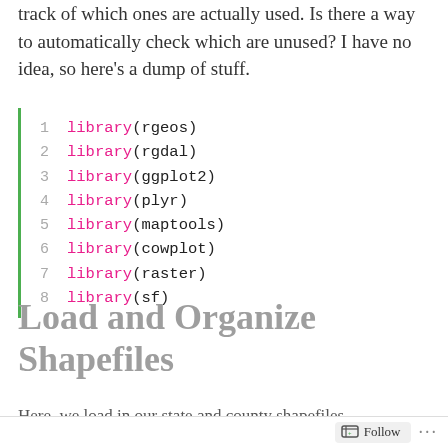track of which ones are actually used. Is there a way to automatically check which are unused? I have no idea, so here's a dump of stuff.
Load and Organize Shapefiles
Here, we load in our state and county shapefiles